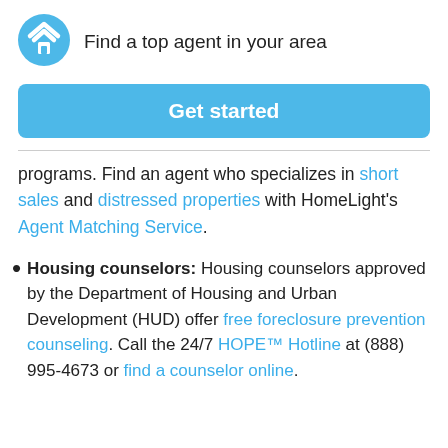[Figure (logo): HomeLight logo: blue circle with white chevron/house icon]
Find a top agent in your area
Get started
programs. Find an agent who specializes in short sales and distressed properties with HomeLight's Agent Matching Service.
Housing counselors: Housing counselors approved by the Department of Housing and Urban Development (HUD) offer free foreclosure prevention counseling. Call the 24/7 HOPE™ Hotline at (888) 995-4673 or find a counselor online.